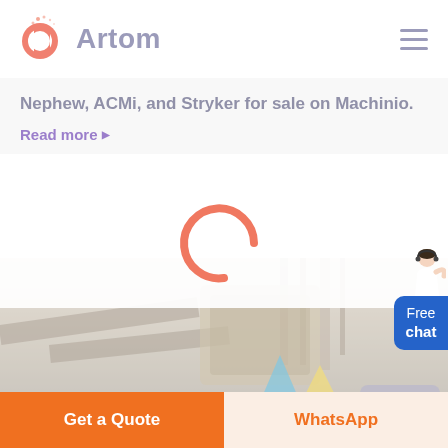Artom
Nephew, ACMi, and Stryker for sale on Machinio.
Read more
[Figure (illustration): Loading spinner (partial circle arc in salmon/orange color) over white background, with faded industrial machinery image below showing crushers and conveyor belts]
[Figure (illustration): Free chat widget: person figure with headset on right side, blue rounded button with text Free chat]
Get a Quote
WhatsApp